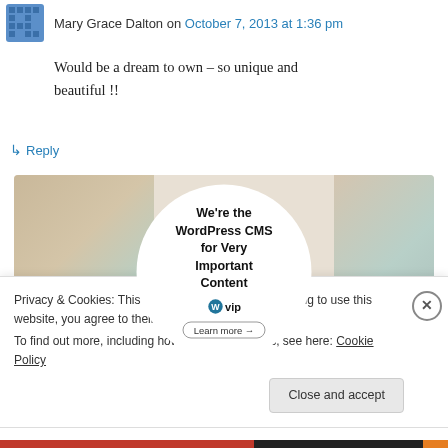Mary Grace Dalton on October 7, 2013 at 1:36 pm
Would be a dream to own – so unique and beautiful !!
↳ Reply
[Figure (illustration): WordPress VIP advertisement showing 'We're the WordPress CMS for Very Important Content' with a Learn more button, surrounded by colorful paper/card decorations]
Privacy & Cookies: This site uses cookies. By continuing to use this website, you agree to their use.
To find out more, including how to control cookies, see here: Cookie Policy
Close and accept